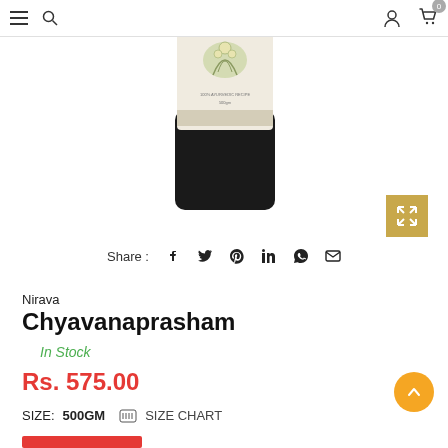Nirava - Navigation header with hamburger menu, search, account, and cart icons
[Figure (photo): Product photo of Nirava Chyavanaprasham jar — a dark glass jar with cream-colored label showing botanical illustration and text '100% Ayurvedic Recipe, 500gm']
[Figure (other): Expand/fullscreen button icon (X with arrows) on gold/tan background]
Share : [Facebook] [Twitter] [Pinterest] [LinkedIn] [WhatsApp] [Email]
Nirava
Chyavanaprasham
In Stock
Rs. 575.00
SIZE: 500GM  SIZE CHART